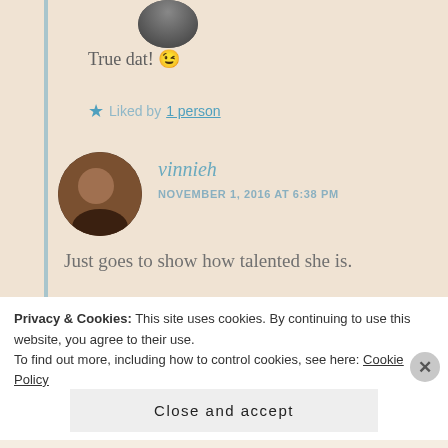True dat! 😉
★ Liked by 1 person
vinnieh
NOVEMBER 1, 2016 AT 6:38 PM
Just goes to show how talented she is.
Privacy & Cookies: This site uses cookies. By continuing to use this website, you agree to their use. To find out more, including how to control cookies, see here: Cookie Policy
Close and accept